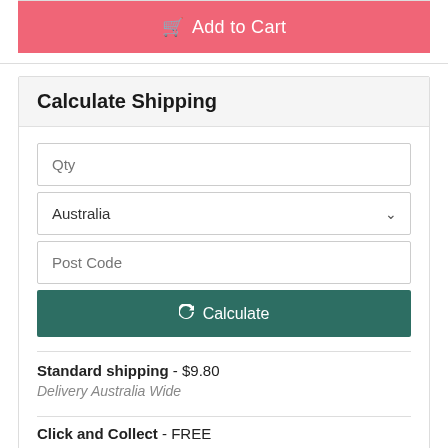Add to Cart
Calculate Shipping
Qty
Australia
Post Code
Calculate
Standard shipping - $9.80
Delivery Australia Wide
Click and Collect - FREE